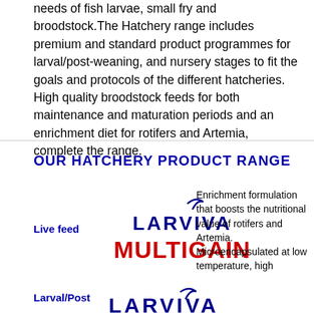needs of fish larvae, small fry and broodstock. The Hatchery range includes premium and standard product programmes for larval/post-weaning, and nursery stages to fit the goals and protocols of the different hatcheries. High quality broodstock feeds for both maintenance and maturation periods and an enrichment diet for rotifers and Artemia, complete the range.
OUR HATCHERY PRODUCT RANGE
Live feed
[Figure (logo): LARVIVA MULTIGAIN logo — LARVIVA in dark blue with a checkmark swoosh above the V, MULTIGAIN in bold red below]
Enrichment formulation that boosts the nutritional value of rotifers and Artemia. Microencapsulated at low temperature, high
Larval/Post
[Figure (logo): LARVIVA logo partial — dark blue letters with swoosh above V]